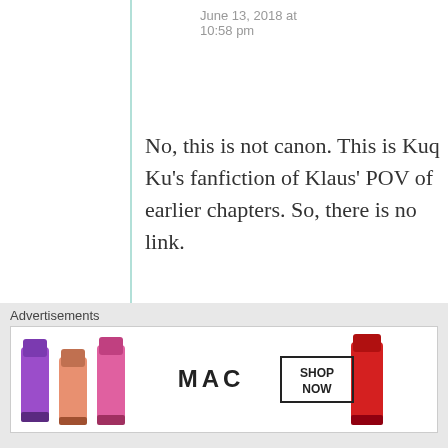June 13, 2018 at 10:58 pm
No, this is not canon. This is Kuq Ku’s fanfiction of Klaus’ POV of earlier chapters. So, there is no link.
★ Like
↪ Reply
Advertisements